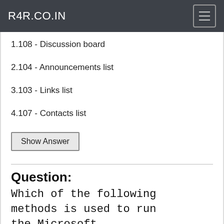R4R.CO.IN
1.108 - Discussion board
2.104 - Announcements list
3.103 - Links list
4.107 - Contacts list
Show Answer
Question:
Which of the following methods is used to run the Microsoft SharePoint Workspace